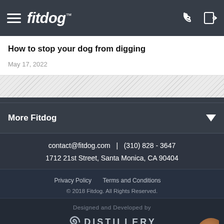fitdog™
How to stop your dog from digging
May 17, 2022
More Fitdog
contact@fitdog.com  |  (310) 828 - 3647
1712 21st Street, Santa Monica, CA 90404
Privacy Policy    Terms and Conditions
© 2018 Fitdog. All Rights Reserved.
Designed and Developed by DISTILLERY